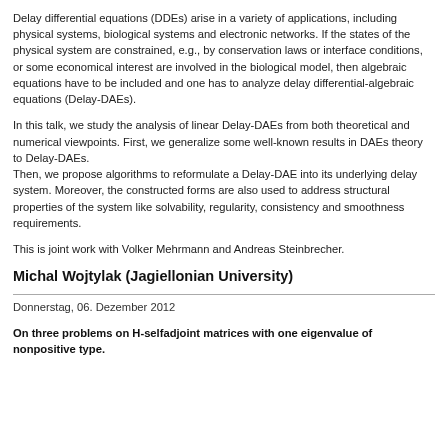Delay differential equations (DDEs) arise in a variety of applications, including physical systems, biological systems and electronic networks. If the states of the physical system are constrained, e.g., by conservation laws or interface conditions, or some economical interest are involved in the biological model, then algebraic equations have to be included and one has to analyze delay differential-algebraic equations (Delay-DAEs).
In this talk, we study the analysis of linear Delay-DAEs from both theoretical and numerical viewpoints. First, we generalize some well-known results in DAEs theory to Delay-DAEs.
Then, we propose algorithms to reformulate a Delay-DAE into its underlying delay system. Moreover, the constructed forms are also used to address structural properties of the system like solvability, regularity, consistency and smoothness requirements.
This is joint work with Volker Mehrmann and Andreas Steinbrecher.
Michal Wojtylak (Jagiellonian University)
Donnerstag, 06. Dezember 2012
On three problems on H-selfadjoint matrices with one eigenvalue of nonpositive type.